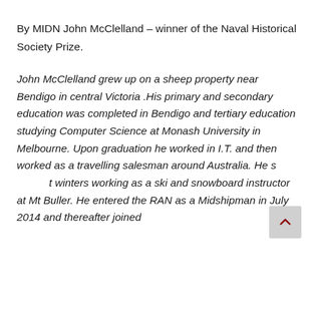By MIDN John McClelland – winner of the Naval Historical Society Prize.
John McClelland grew up on a sheep property near Bendigo in central Victoria .His primary and secondary education was completed in Bendigo and tertiary education studying Computer Science at Monash University in Melbourne. Upon graduation he worked in I.T. and then worked as a travelling salesman around Australia. He spent winters working as a ski and snowboard instructor at Mt Buller. He entered the RAN as a Midshipman in July 2014 and thereafter joined